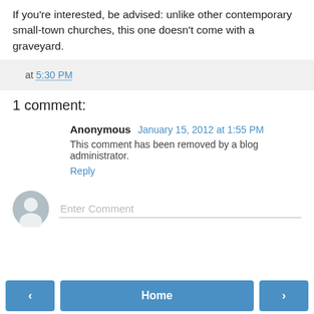If you're interested, be advised: unlike other contemporary small-town churches, this one doesn't come with a graveyard.
at 5:30 PM
1 comment:
Anonymous January 15, 2012 at 1:55 PM
This comment has been removed by a blog administrator.
Reply
Enter Comment
‹  Home  ›